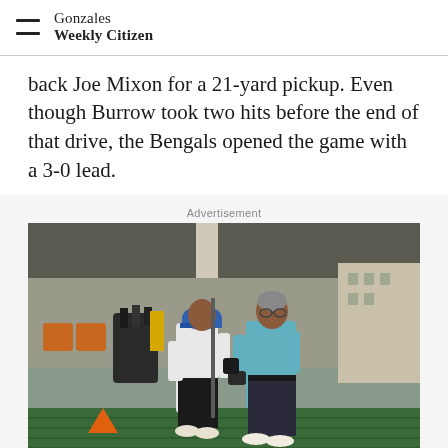Gonzales Weekly Citizen
back Joe Mixon for a 21-yard pickup. Even though Burrow took two hits before the end of that drive, the Bengals opened the game with a 3-0 lead.
Advertisement
[Figure (photo): Two men at a golf driving range. One man wearing a blue cap and white/dark outfit is holding a golf club, assisted by another man in a blue polo shirt and dark trousers who is guiding the grip. Golf bags and equipment visible in the background.]